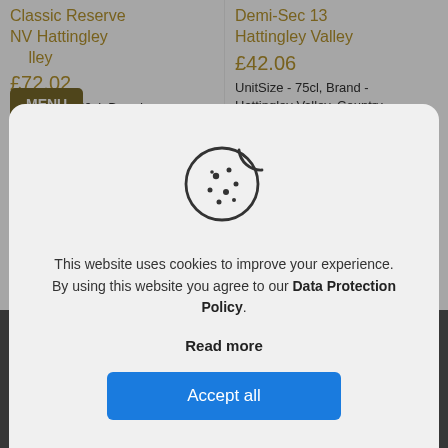Classic Reserve NV Hattingley Valley
£72.02
UnitSize - 150cl, Brand - Hattingley Valley, Country - England, Region - Hampshire,
Demi-Sec 13 Hattingley Valley
£42.06
UnitSize - 75cl, Brand - Hattingley Valley, Country - England, Region - Hampshire, Vintage - 2013, Grape - Pinot
[Figure (illustration): Cookie icon — a circular cookie with a bite taken out of the top right, with several circular dots/chips scattered on its surface. Drawn in dark gray outline on a light gray background.]
This website uses cookies to improve your experience. By using this website you agree to our Data Protection Policy.
Read more
Accept all